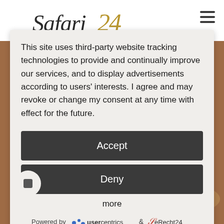[Figure (logo): Safari24 logo with stylized italic text and golden '24' numeral]
This site uses third-party website tracking technologies to provide and continually improve our services, and to display advertisements according to users' interests. I agree and may revoke or change my consent at any time with effect for the future.
Accept
Deny
more
Powered by  usercentrics  &  eRecht24
[Figure (photo): Background photo showing a reddish-brown landscape, partial animal visible at bottom]